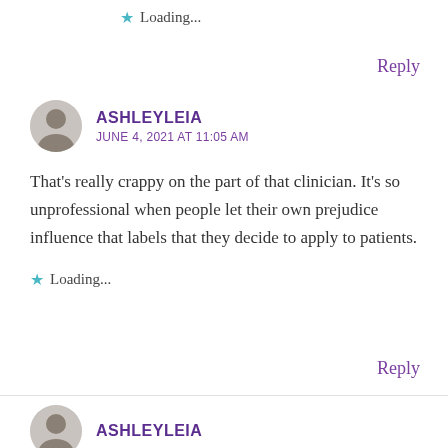Loading...
Reply
ASHLEYLEIA
JUNE 4, 2021 AT 11:05 AM
That’s really crappy on the part of that clinician. It’s so unprofessional when people let their own prejudice influence that labels that they decide to apply to patients.
Loading...
Reply
ASHLEYLEIA